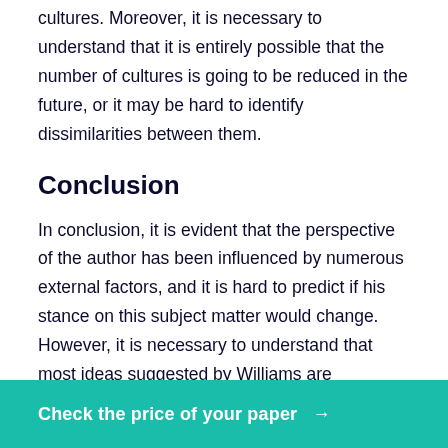cultures. Moreover, it is necessary to understand that it is entirely possible that the number of cultures is going to be reduced in the future, or it may be hard to identify dissimilarities between them.
Conclusion
In conclusion, it is evident that the perspective of the author has been influenced by numerous external factors, and it is hard to predict if his stance on this subject matter would change. However, it is necessary to understand that most ideas suggested by Williams are reasonable and can still be applied to modern society. The problem is that the overall perception of culture has changed. Overall, it is not likely that the perspective of the scholar would change significantly but he would